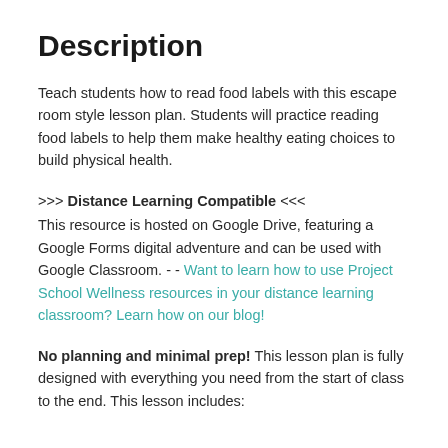Description
Teach students how to read food labels with this escape room style lesson plan. Students will practice reading food labels to help them make healthy eating choices to build physical health.
>>> Distance Learning Compatible <<<
This resource is hosted on Google Drive, featuring a Google Forms digital adventure and can be used with Google Classroom. - - Want to learn how to use Project School Wellness resources in your distance learning classroom? Learn how on our blog!
No planning and minimal prep! This lesson plan is fully designed with everything you need from the start of class to the end. This lesson includes: